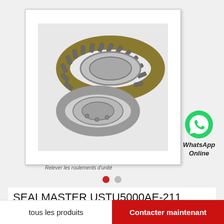[Figure (photo): Photo of SEALMASTER USTU5000AE-211 bearing unit — metal cylindrical roller bearings with inner and outer rings disassembled, silver and gold-toned metallic parts on white background]
Relever les roulements d'unité
[Figure (logo): WhatsApp green circle logo icon with phone handset]
WhatsApp Online
SEALMASTER USTU5000AE-211 Relever les roulements d'unité
tous les produits
Contacter maintenant